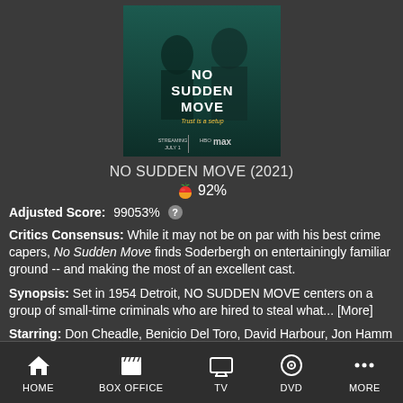[Figure (photo): Movie poster for No Sudden Move (2021) showing two men in suits on a dark teal background with text 'NO SUDDEN MOVE', 'Trust is a setup', 'STREAMING JULY 1', and HBO Max logo]
NO SUDDEN MOVE (2021)
🍅 92%
Adjusted Score: 99053% ?
Critics Consensus: While it may not be on par with his best crime capers, No Sudden Move finds Soderbergh on entertainingly familiar ground -- and making the most of an excellent cast.
Synopsis: Set in 1954 Detroit, NO SUDDEN MOVE centers on a group of small-time criminals who are hired to steal what... [More]
Starring: Don Cheadle, Benicio Del Toro, David Harbour, Jon Hamm
HOME  BOX OFFICE  TV  DVD  MORE